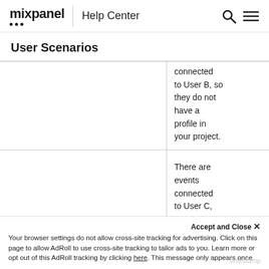mixpanel | Help Center
User Scenarios
|  | connected to User B, so they do not have a profile in your project. |
|  | There are events connected to User C, |
Accept and Close ×
Your browser settings do not allow cross-site tracking for advertising. Click on this page to allow AdRoll to use cross-site tracking to tailor ads to you. Learn more or opt out of this AdRoll tracking by clicking here. This message only appears once.